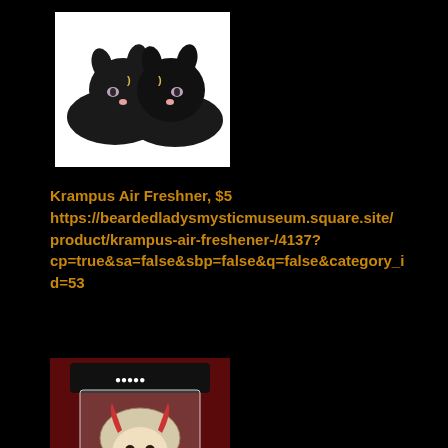[Figure (photo): Black cat-shaped slippers with crescent moon symbols and pink accents, shown as a pair on a white background]
Krampus Air Freshner, $5
https://beardedladysmysticmuseum.square.site/product/krampus-air-freshener-/4137?cp=true&sa=false&sbp=false&q=false&category_id=53
[Figure (photo): Krampus air freshener in clear plastic packaging, showing a cute cartoon Krampus figure with horns and fur, against a dark red background]